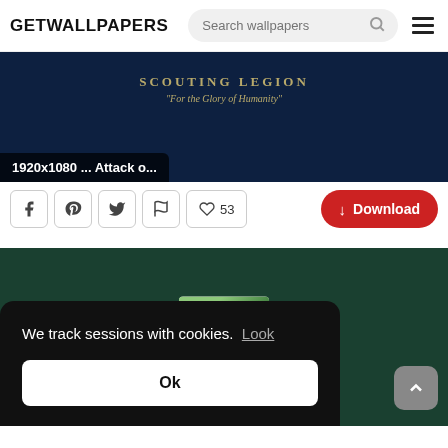GETWALLPAPERS
[Figure (screenshot): Dark navy blue wallpaper with 'SCOUTING LEGION' and 'For the Glory of Humanity' text, labeled '1920x1080 ... Attack o...']
1920x1080 ... Attack o...
53
Download
[Figure (screenshot): Dark green wallpaper with a small thumbnail image visible, labeled '1920x1080 Attack on']
1920x1080 Attack on
We track sessions with cookies.  Look
Ok